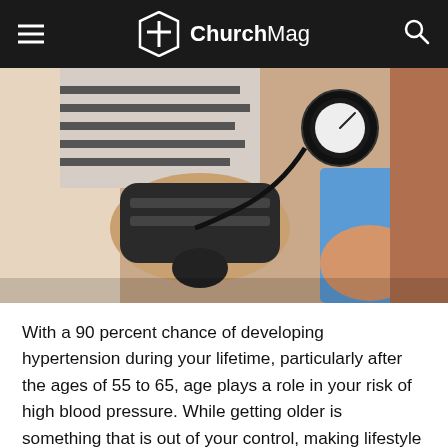ChurchMag
[Figure (photo): A healthcare professional taking a patient's blood pressure with a sphygmomanometer cuff on the patient's arm.]
With a 90 percent chance of developing hypertension during your lifetime, particularly after the ages of 55 to 65, age plays a role in your risk of high blood pressure. While getting older is something that is out of your control, making lifestyle choices that support healthy aging and low blood pressure can help reduce your risk of hypertension and better manage hypertension if you do develop it. Be sure to ask your doctor